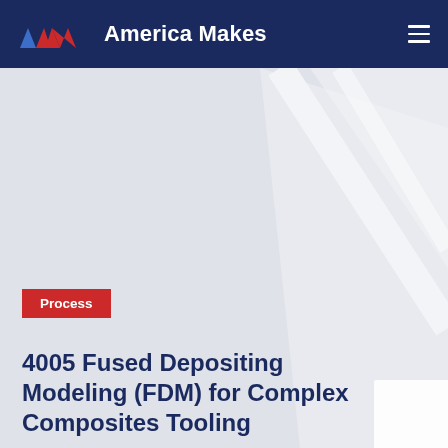America Makes
[Figure (logo): America Makes logo with blue and red angular chevron shapes on dark navy background]
Process
4005 Fused Depositing Modeling (FDM) for Complex Composites Tooling